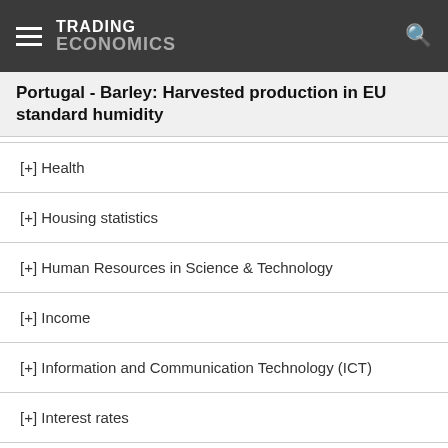TRADING ECONOMICS
Portugal - Barley: Harvested production in EU standard humidity
[+] Health
[+] Housing statistics
[+] Human Resources in Science & Technology
[+] Income
[+] Information and Communication Technology (ICT)
[+] Interest rates
[+] International investment position
[+] International Trade
[+] Labour